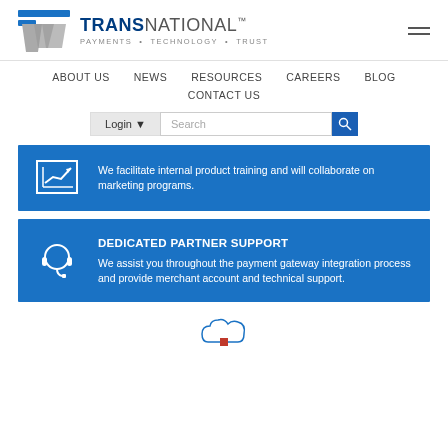[Figure (logo): TransNational logo with blue T icon and text TRANSNATIONAL PAYMENTS + TECHNOLOGY + TRUST]
ABOUT US   NEWS   RESOURCES   CAREERS   BLOG   CONTACT US
Login    Search
We facilitate internal product training and will collaborate on marketing programs.
DEDICATED PARTNER SUPPORT
We assist you throughout the payment gateway integration process and provide merchant account and technical support.
[Figure (illustration): Cloud icon with red element at bottom]